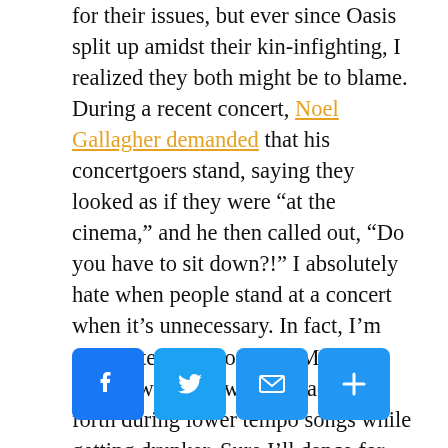for their issues, but ever since Oasis split up amidst their kin-infighting, I realized they both might be to blame. During a recent concert, Noel Gallagher demanded that his concertgoers stand, saying they looked as if they were “at the cinema,” and he then called out, “Do you have to sit down?!” I absolutely hate when people stand at a concert when it’s unnecessary. In fact, I’m always tempted to throw M&Ms at people who are swaying back-and-forth during lower tempo songs while getting drunker. Sure I’ll dance for Britney Spears, but Noel Gallagher?
[Figure (other): Social sharing buttons: Facebook, Twitter, Email, Share]